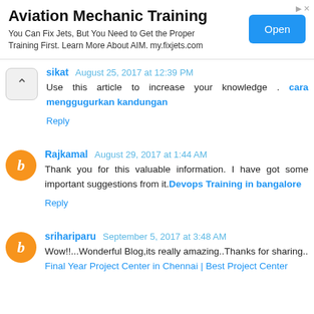[Figure (other): Advertisement banner for Aviation Mechanic Training with 'Open' button]
sikat August 25, 2017 at 12:39 PM
Use this article to increase your knowledge . cara menggugurkan kandungan
Reply
Rajkamal August 29, 2017 at 1:44 AM
Thank you for this valuable information. I have got some important suggestions from it.Devops Training in bangalore
Reply
srihariparu September 5, 2017 at 3:48 AM
Wow!!...Wonderful Blog,its really amazing..Thanks for sharing..
Final Year Project Center in Chennai | Best Project Center